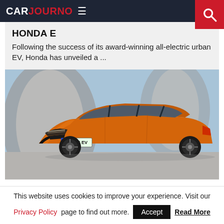CARJOURNO ≡
HONDA E
Following the success of its award-winning all-electric urban EV, Honda has unveiled a ...
[Figure (photo): Orange MG4 EV car photographed in a dramatic architectural setting with curved concrete walls, showing the front and side profile. UK green number plate reads MG4 EV.]
This website uses cookies to improve your experience. Visit our Privacy Policy page to find out more.
Accept  Read More